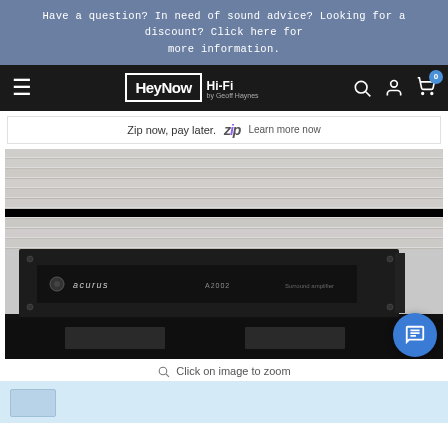Have a question? In need of sound advice? Looking for a discount? Click here for more information.
[Figure (screenshot): HeyNow Hi-Fi navigation bar with hamburger menu, logo, search, account, and cart icons on dark background]
Zip now, pay later.  zip  Learn more now
[Figure (photo): Black rack-mount Acurus A2002 surround amplifier on a shelf against a white brick wall background]
Click on image to zoom